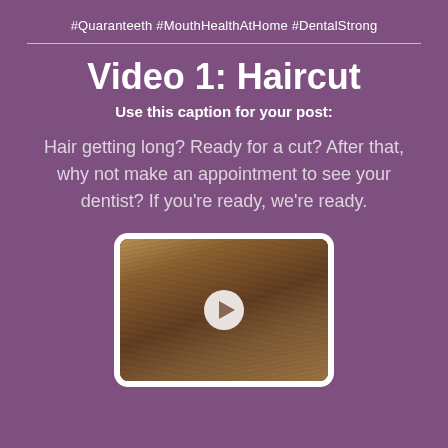#Quaranteeth #MouthHealthAtHome #DentalStrong
Video 1: Haircut
Use this caption for your post:
Hair getting long? Ready for a cut? After that, why not make an appointment to see your dentist? If you're ready, we're ready.
[Figure (photo): Video thumbnail showing a person with long, unkempt hair and beard, with a white circular play button overlay. The thumbnail is displayed in a white rounded-corner frame simulating a mobile device or tablet.]